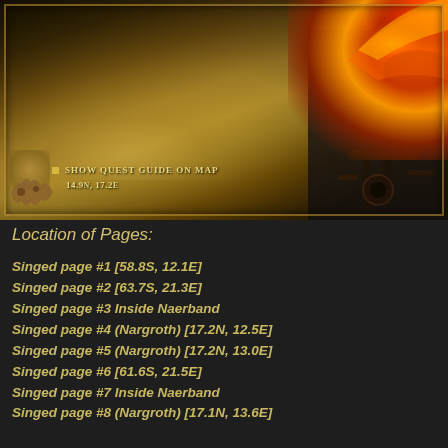[Figure (screenshot): Game screenshot showing a dark fantasy map with fire/lava machinery in the top-right corner, a parchment-colored fog-covered map area, and UI text showing 'Show Quest Guide On Map' and coordinates '14.9N, 17.2E' at the bottom of the map]
Location of Pages:
Singed page #1 [58.8S, 12.1E]
Singed page #2 [63.7S, 21.3E]
Singed page #3 Inside Naerband
Singed page #4 (Nargroth) [17.2N, 12.5E]
Singed page #5 (Nargroth) [17.2N, 13.0E]
Singed page #6 [61.6S, 21.5E]
Singed page #7 Inside Naerband
Singed page #8 (Nargroth) [17.1N, 13.6E]